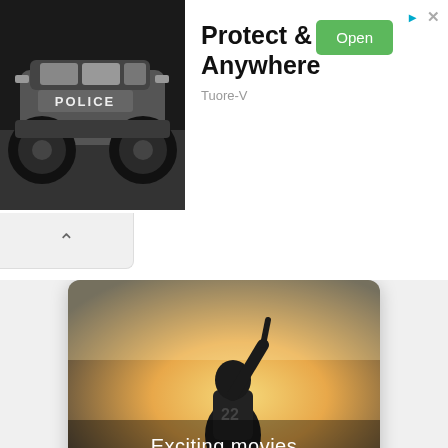[Figure (photo): Ad banner with police RC monster truck toy in black and white on the left, text 'Protect & Serve Anywhere' with 'Tuore-V' subtitle and green 'Open' button on the right]
Protect & Serve Anywhere
Tuore-V
[Figure (photo): Movie category card showing a football player raising a finger in celebration with warm glowing background, labeled 'Exciting movies']
Exciting movies
[Figure (photo): Movie category card showing a superhero character looking up at a futuristic city skyline at night, partially visible at bottom of page]